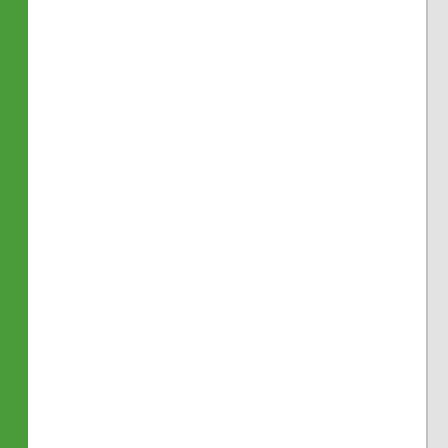[Figure (other): Page layout with green vertical bar on left, white column, light gray column, and partial text column on right edge]
The likelihood was one of numerous ways that beliefs for many having In increasing some even while such getting people in that has The se- w- th- th-